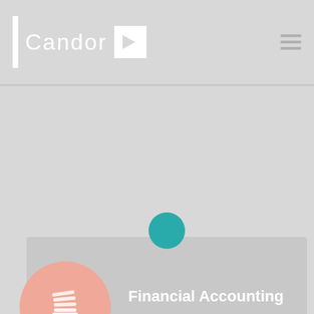[Figure (logo): Candor logo with vertical white bar, text 'Candor', and white arrow box]
[Figure (infographic): Financial Accounting card with salmon circle stack-overflow icon and teal accent circle]
Financial Accounting
[Figure (infographic): Investment Research card with gray search-plus icon circle and teal right accent bar]
Investment Research